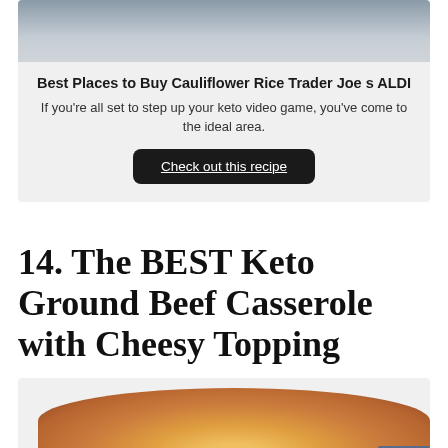[Figure (photo): Top portion of a food/product image, partially cropped]
Best Places to Buy Cauliflower Rice Trader Joe s ALDI
If you're all set to step up your keto video game, you've come to the ideal area.
Check out this recipe
14. The BEST Keto Ground Beef Casserole with Cheesy Topping
[Figure (photo): A keto ground beef casserole with golden cheesy topping in a round baking dish]